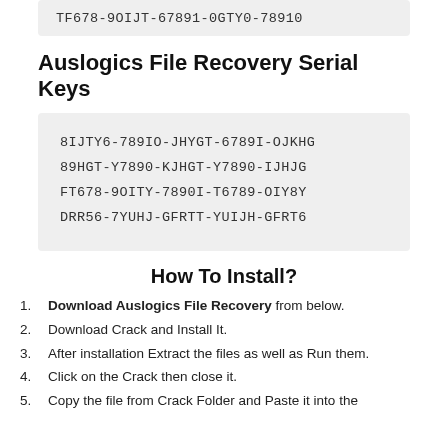TF678-9OIJT-67891-0GTY0-78910
Auslogics File Recovery Serial Keys
8IJTY6-789IO-JHYGT-6789I-OJKHG
89HGT-Y7890-KJHGT-Y7890-IJHJG
FT678-9OITY-7890I-T6789-OIY8Y
DRR56-7YUHJ-GFRTT-YUIJH-GFRT6
How To Install?
Download Auslogics File Recovery from below.
Download Crack and Install It.
After installation Extract the files as well as Run them.
Click on the Crack then close it.
Copy the file from Crack Folder and Paste it into the